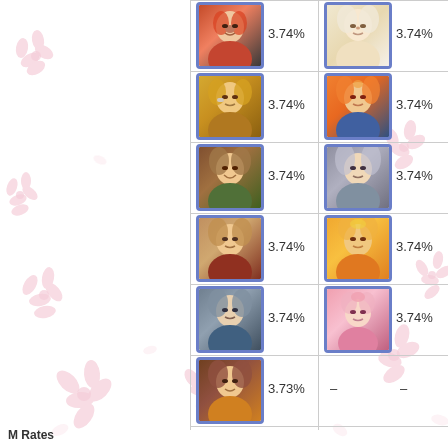[Figure (infographic): A gacha/mobile game character rate table showing 11 anime-style character portraits arranged in a 2-column grid. Each character portrait is shown with a blue-bordered card and its associated pull rate percentage. Row 1: character 1 (3.74%), character 2 (3.74%). Row 2: character 3 (3.74%), character 4 (3.74%). Row 3: character 5 (3.74%), character 6 (3.74%). Row 4: character 7 (3.74%), character 8 (3.74%). Row 5: character 9 (3.74%), character 10 (3.74%). Row 6: character 11 (3.73%), then dash dash. Background has pink sakura flower decorations.]
M Rates